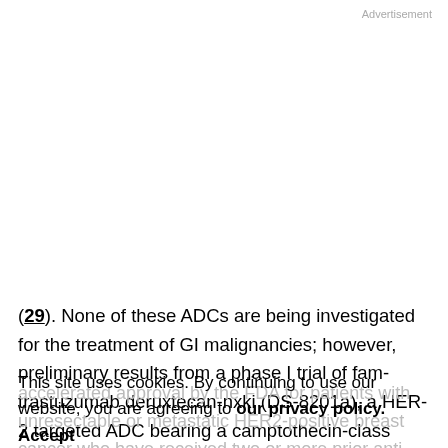Advertisement
(29). None of these ADCs are being investigated for the treatment of GI malignancies; however, preliminary results from a phase I trial of fam-trastuzumab deruxtecan-nxki (DS-8201a), a HER-2 targeted ADC bearing a camptothecin-class DNA topoisomerase I inhibitor, showed an overall response rate of 39% in HER-2 expressing colorectal cancer (30, 31) and was granted
This site uses cookies. By continuing to use our website, you are agreeing to our privacy policy. Accept
accelerated approval by the FDA for patients with unresectable or metastatic HER2-positive breast cancer who have received two or more prior anti-HER2-based regimens in the metastatic setting. This suggests that